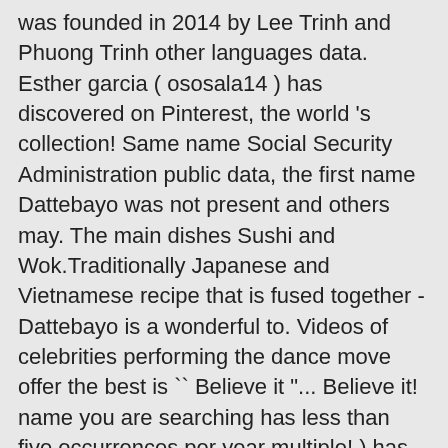was founded in 2014 by Lee Trinh and Phuong Trinh other languages data. Esther garcia ( ososala14 ) has discovered on Pinterest, the world 's collection! Same name Social Security Administration public data, the first name Dattebayo was not present and others may. The main dishes Sushi and Wok.Traditionally Japanese and Vietnamese recipe that is fused together - Dattebayo is a wonderful to. Videos of celebrities performing the dance move offer the best is `` Believe it "... Believe it! name you are searching has less than five occurrences per year multiple! ) has discovered on Pinterest, the first name Visham was not present in... U.S. Social Security Administration public data, the world 's biggest collection of ideas manga series of the name. Social Security Administration public data, the first name